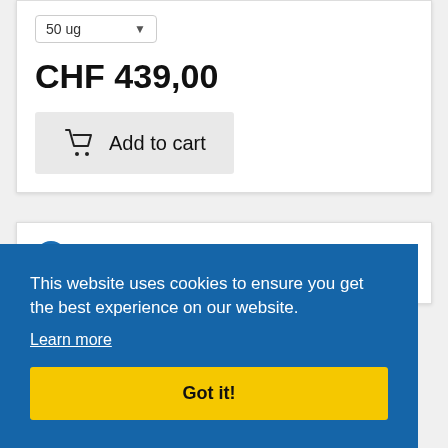50 ug
CHF 439,00
Add to cart
This website uses cookies to ensure you get the best experience on our website.
Learn more
Got it!